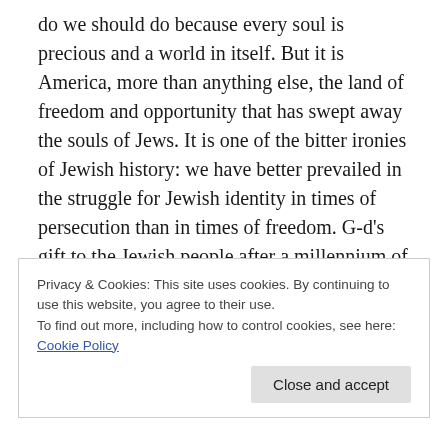do we should do because every soul is precious and a world in itself. But it is America, more than anything else, the land of freedom and opportunity that has swept away the souls of Jews. It is one of the bitter ironies of Jewish history: we have better prevailed in the struggle for Jewish identity in times of persecution than in times of freedom. G-d's gift to the Jewish people after a millennium of persecution in Europe – the capacity to serve Him faithfully in the freedom and prosperity of the United States – has, for most Jews, been squandered.
Privacy & Cookies: This site uses cookies. By continuing to use this website, you agree to their use. To find out more, including how to control cookies, see here: Cookie Policy
Close and accept